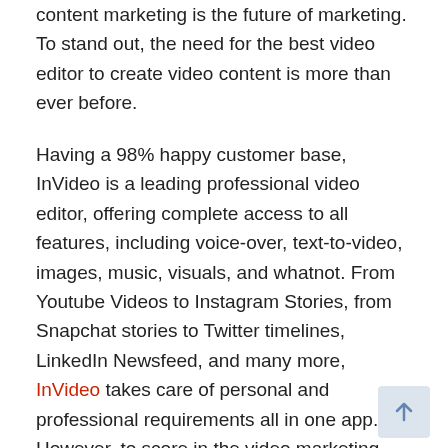content marketing is the future of marketing. To stand out, the need for the best video editor to create video content is more than ever before.
Having a 98% happy customer base,  InVideo is a leading professional video editor, offering complete access to all features, including voice-over, text-to-video, images, music, visuals, and whatnot. From Youtube Videos to Instagram Stories, from Snapchat stories to Twitter timelines,  LinkedIn Newsfeed, and many more, InVideo takes care of personal and professional requirements all in one app. However, to score in the video marketing game, you need to know how to play.
The study mentions that 69% of non-video marketers plan to introduce video marketing in their growth strategy by